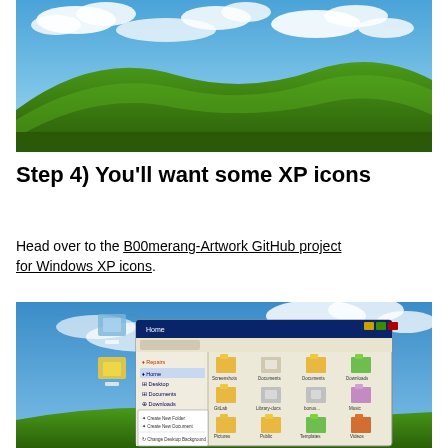[Figure (screenshot): Windows XP Bliss wallpaper — green rolling hill under blue sky with white clouds]
Step 4) You'll want some XP icons
Head over to the B00merang-Artwork GitHub project for Windows XP icons.
[Figure (screenshot): Windows XP desktop with blue sky wallpaper showing a Nautilus file manager window open with XP-style folder icons]